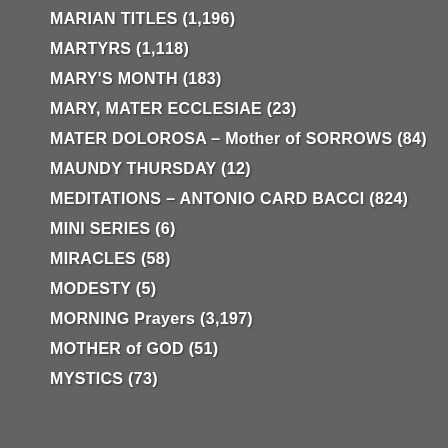MARIAN TITLES (1,196)
MARTYRS (1,118)
MARY'S MONTH (183)
MARY, MATER ECCLESIAE (23)
MATER DOLOROSA – Mother of SORROWS (84)
MAUNDY THURSDAY (12)
MEDITATIONS – ANTONIO CARD BACCI (824)
MINI SERIES (6)
MIRACLES (58)
MODESTY (5)
MORNING Prayers (3,197)
MOTHER of GOD (51)
MYSTICS (73)